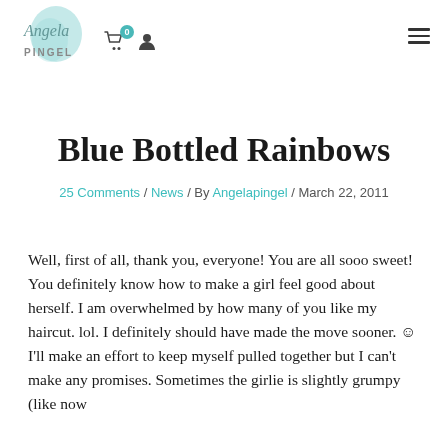Angela Pingel — site header with logo, cart (0), user icon, and hamburger menu
Blue Bottled Rainbows
25 Comments / News / By Angelapingel / March 22, 2011
Well, first of all, thank you, everyone! You are all sooo sweet! You definitely know how to make a girl feel good about herself. I am overwhelmed by how many of you like my haircut. lol. I definitely should have made the move sooner. ☺ I'll make an effort to keep myself pulled together but I can't make any promises. Sometimes the girlie is slightly grumpy (like now